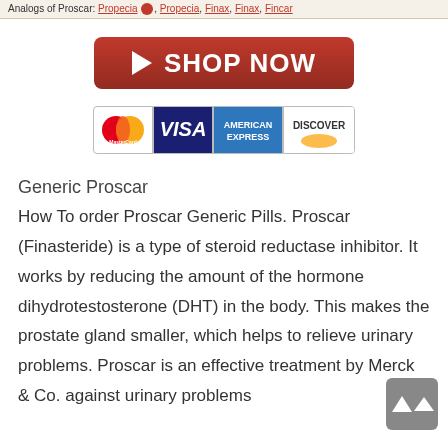Analogs of Proscar: Propecia, Propecia, Finax, Finax, Fincar
[Figure (other): Red Shop Now button with play icon]
[Figure (other): Payment methods strip: MasterCard, VISA, American Express, Discover]
Generic Proscar
How To order Proscar Generic Pills. Proscar (Finasteride) is a type of steroid reductase inhibitor. It works by reducing the amount of the hormone dihydrotestosterone (DHT) in the body. This makes the prostate gland smaller, which helps to relieve urinary problems. Proscar is an effective treatment by Merck & Co. against urinary problems